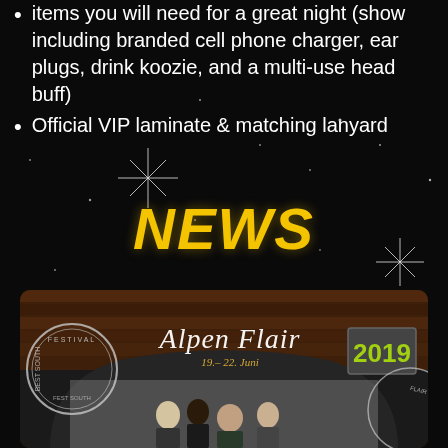items you will need for a great night (show including branded cell phone charger, ear plugs, drink koozie, and a multi-use head buff)
Official VIP laminate & matching lanyard
NEWS
[Figure (photo): Alpen Flair Festival 2019 promotional image showing four band members standing in front of a wooden backdrop with the Alpen Flair logo and '19.–22. Juni' text, with festival circular logo on the left and '2019' text on the right]